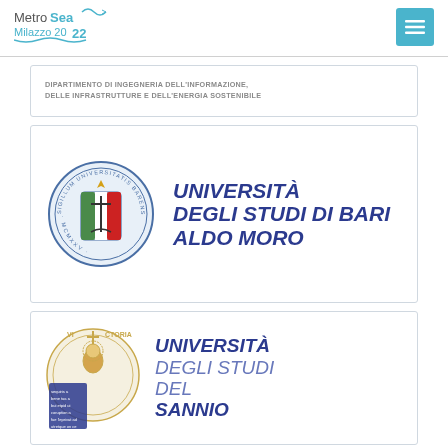MetroSea Milazzo 2022 — navigation header
[Figure (logo): MetroSea Milazzo 2022 conference logo with wave motif]
[Figure (logo): Menu button with hamburger icon]
[Figure (logo): Dipartimento di Ingegneria dell'Informazione, delle Infrastrutture e dell'Energia Sostenibile logo card]
DIPARTIMENTO DI INGEGNERIA DELL'INFORMAZIONE, DELLE INFRASTRUTTURE E DELL'ENERGIA SOSTENIBILE
[Figure (logo): Università degli Studi di Bari Aldo Moro logo with circular seal]
[Figure (logo): Università degli Studi del Sannio logo with circular seal]